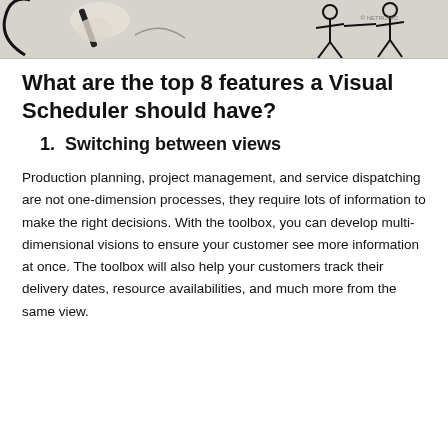[Figure (illustration): Partial illustration showing a hand holding a pen and sketched stick figures, with a NETRONIC logo watermark in the top right corner.]
What are the top 8 features a Visual Scheduler should have?
1. Switching between views
Production planning, project management, and service dispatching are not one-dimension processes, they require lots of information to make the right decisions. With the toolbox, you can develop multi-dimensional visions to ensure your customer see more information at once. The toolbox will also help your customers track their delivery dates, resource availabilities, and much more from the same view.